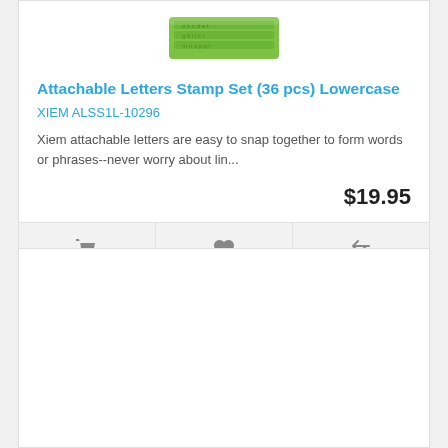[Figure (photo): Green Xiem attachable letters stamp set shown from above]
Attachable Letters Stamp Set (36 pcs) Lowercase
XIEM ALSS1L-10296
Xiem attachable letters are easy to snap together to form words or phrases--never worry about lin...
$19.95